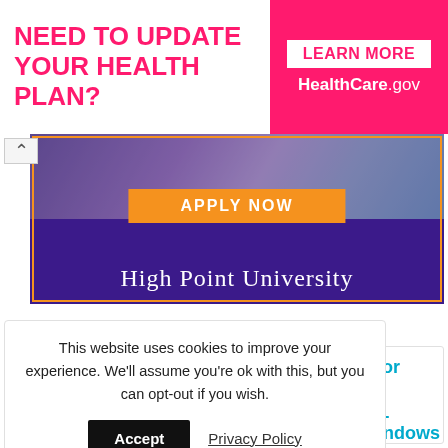[Figure (screenshot): Top ad banner: 'NEED TO UPDATE YOUR HEALTH PLAN?' in pink/magenta bold text on left; right side has pink background with white box 'LEARN MORE' and white text 'HealthCare.gov']
[Figure (screenshot): High Point University advertisement: group photo of students on purple background, orange 'APPLY NOW' button, white text 'High Point University' in serif font]
Also Read:
[Figure (screenshot): Partially visible content cards with blue link text including 're apps for', '18]', '4K UHD +', 'th Windows']
This website uses cookies to improve your experience. We'll assume you're ok with this, but you can opt-out if you wish.
Accept   Privacy Policy